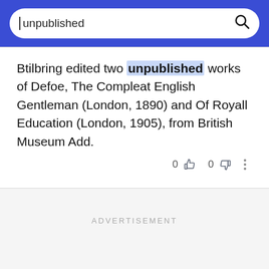[Figure (screenshot): Search bar with text 'unpublished' and search icon on blue background]
Btilbring edited two unpublished works of Defoe, The Compleat English Gentleman (London, 1890) and Of Royall Education (London, 1905), from British Museum Add.
0 [thumbs up] 0 [thumbs down] [more options]
ADVERTISEMENT